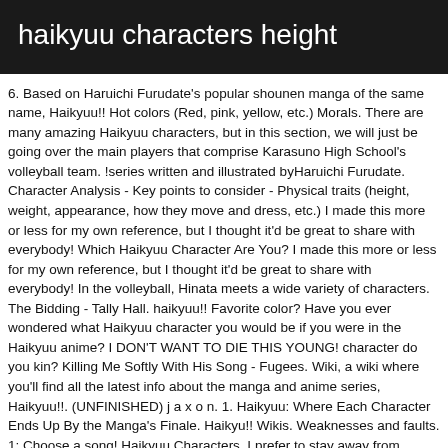haikyuu characters height
6. Based on Haruichi Furudate's popular shounen manga of the same name, Haikyuu!! Hot colors (Red, pink, yellow, etc.) Morals. There are many amazing Haikyuu characters, but in this section, we will just be going over the main players that comprise Karasuno High School's volleyball team. !series written and illustrated byHaruichi Furudate. Character Analysis - Key points to consider - Physical traits (height, weight, appearance, how they move and dress, etc.) I made this more or less for my own reference, but I thought it'd be great to share with everybody! Which Haikyuu Character Are You? I made this more or less for my own reference, but I thought it'd be great to share with everybody! In the volleyball, Hinata meets a wide variety of characters. The Bidding - Tally Hall. haikyuu!! Favorite color? Have you ever wondered what Haikyuu character you would be if you were in the Haikyuu anime? I DON'T WANT TO DIE THIS YOUNG! character do you kin? Killing Me Softly With His Song - Fugees. Wiki, a wiki where you'll find all the latest info about the manga and anime series, Haikyuu!!. (UNFINISHED) j a x o n. 1. Haikyuu: Where Each Character Ends Up By the Manga's Finale. Haikyu!! Wikis. Weaknesses and faults. 1: Choose a song! Haikyuu Characters. I prefer to stay away from people.